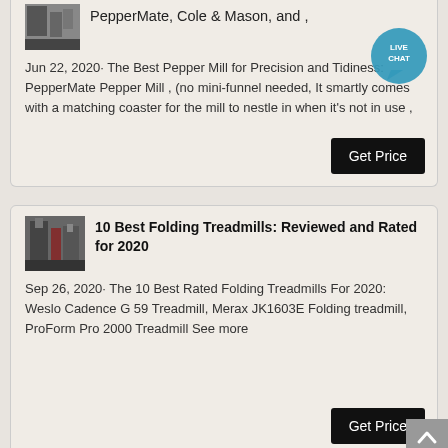PepperMate, Cole & Mason, and ,
Jun 22, 2020· The Best Pepper Mill for Precision and Tidiness: PepperMate Pepper Mill , (no mini-funnel needed, It smartly comes with a matching coaster for the mill to nestle in when it's not in use ,
[Figure (photo): Thumbnail image of industrial machinery]
10 Best Folding Treadmills: Reviewed and Rated for 2020
Sep 26, 2020· The 10 Best Rated Folding Treadmills For 2020: Weslo Cadence G 59 Treadmill, Merax JK1603E Folding treadmill, ProForm Pro 2000 Treadmill See more